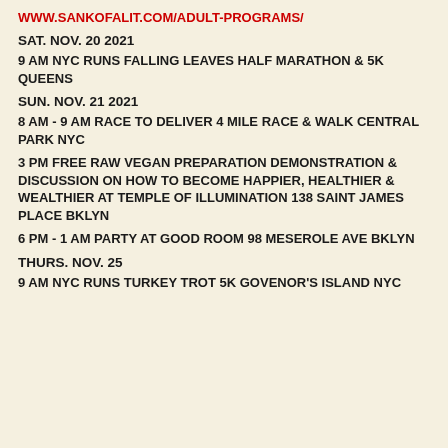WWW.SANKOFALIT.COM/ADULT-PROGRAMS/
SAT. NOV. 20 2021
9 AM NYC RUNS FALLING LEAVES HALF MARATHON & 5K QUEENS
SUN. NOV. 21 2021
8 AM - 9 AM RACE TO DELIVER 4 MILE RACE & WALK CENTRAL PARK NYC
3 PM FREE RAW VEGAN PREPARATION DEMONSTRATION & DISCUSSION ON HOW TO BECOME HAPPIER, HEALTHIER & WEALTHIER AT TEMPLE OF ILLUMINATION 138 SAINT JAMES PLACE BKLYN
6 PM - 1 AM PARTY AT GOOD ROOM 98 MESEROLE AVE BKLYN
THURS. NOV. 25
9 AM NYC RUNS TURKEY TROT 5K GOVENOR'S ISLAND NYC